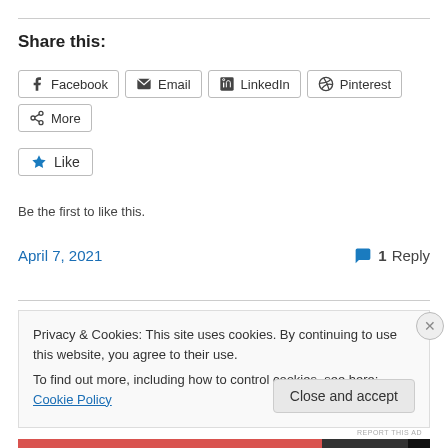Share this:
Facebook
Email
LinkedIn
Pinterest
More
Like
Be the first to like this.
April 7, 2021
1 Reply
Privacy & Cookies: This site uses cookies. By continuing to use this website, you agree to their use.
To find out more, including how to control cookies, see here: Cookie Policy
Close and accept